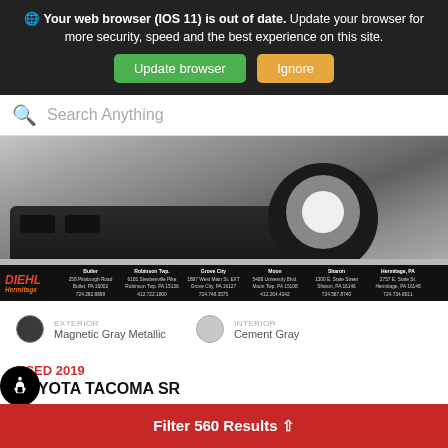Your web browser (iOS 11) is out of date. Update your browser for more security, speed and the best experience on this site.
Update browser  Ignore
Search Anything
[Figure (photo): Close-up photo of front bumper and tire of a dark-colored truck (Toyota Tacoma) in a parking lot, with Diehl Hermitage dealership banner overlay showing multiple locations.]
EXTERIOR  Magnetic Gray Metallic     INTERIOR  Cement Gray
USED 2019
TOYOTA TACOMA SR
Filter 560 Results